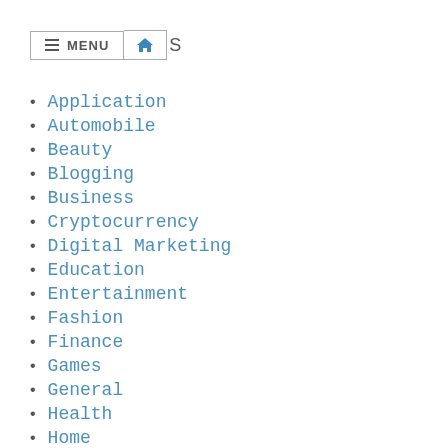≡ MENU 🏠 S
Application
Automobile
Beauty
Blogging
Business
Cryptocurrency
Digital Marketing
Education
Entertainment
Fashion
Finance
Games
General
Health
Home
Influencer Marketing